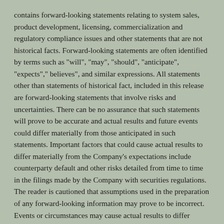contains forward-looking statements relating to system sales, product development, licensing, commercialization and regulatory compliance issues and other statements that are not historical facts. Forward-looking statements are often identified by terms such as "will", "may", "should", "anticipate", "expects"," believes", and similar expressions. All statements other than statements of historical fact, included in this release are forward-looking statements that involve risks and uncertainties. There can be no assurance that such statements will prove to be accurate and actual results and future events could differ materially from those anticipated in such statements. Important factors that could cause actual results to differ materially from the Company's expectations include counterparty default and other risks detailed from time to time in the filings made by the Company with securities regulations. The reader is cautioned that assumptions used in the preparation of any forward-looking information may prove to be incorrect. Events or circumstances may cause actual results to differ materially from those predicted, as a result of numerous known and unknown risks, uncertainties, and other factors, many of which are beyond the control of the Company. The reader is cautioned not to place undue reliance on any forward-looking information. Such information, although considered reasonable by management at the time of preparation, may prove to be incorrect and actual results may differ materially from those anticipated. Forward-looking statements contained in this news release are expressly qualified by this cautionary statement. The forward-looking statements